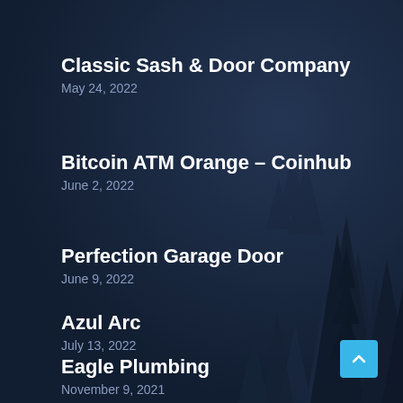[Figure (illustration): Dark navy background with silhouette of pine/fir trees in the lower right portion, creating a winter forest scene]
Classic Sash & Door Company
May 24, 2022
Bitcoin ATM Orange – Coinhub
June 2, 2022
Perfection Garage Door
June 9, 2022
Azul Arc
July 13, 2022
Eagle Plumbing
November 9, 2021